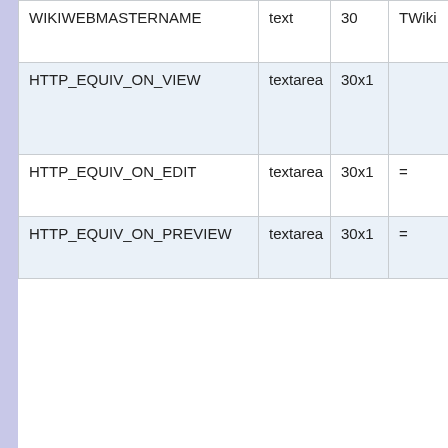| Name | Type | Size | Extra |
| --- | --- | --- | --- |
| WIKIWEBMASTERNAME | text | 30 | TWiki |
| HTTP_EQUIV_ON_VIEW | textarea | 30x1 |  |
| HTTP_EQUIV_ON_EDIT | textarea | 30x1 | = |
| HTTP_EQUIV_ON_PREVIEW | textarea | 30x1 | = |